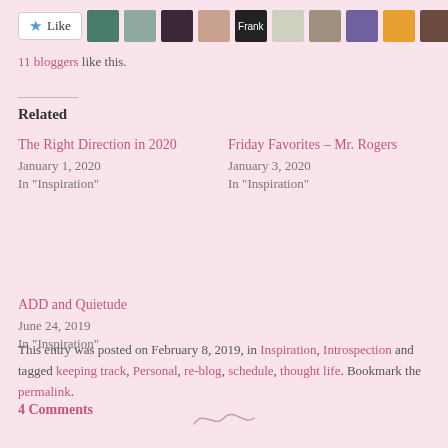[Figure (other): Like button with star icon and 10 blogger avatar thumbnails]
11 bloggers like this.
Related
The Right Direction in 2020
January 1, 2020
In "Inspiration"
Friday Favorites – Mr. Rogers
January 3, 2020
In "Inspiration"
ADD and Quietude
June 24, 2019
In "Inspiration"
This entry was posted on February 8, 2019, in Inspiration, Introspection and tagged keeping track, Personal, re-blog, schedule, thought life. Bookmark the permalink.
4 Comments